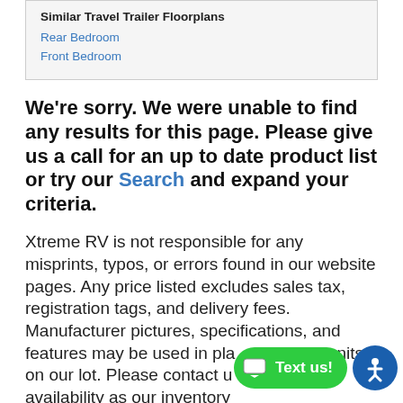Similar Travel Trailer Floorplans
Rear Bedroom
Front Bedroom
We're sorry. We were unable to find any results for this page. Please give us a call for an up to date product list or try our Search and expand your criteria.
Xtreme RV is not responsible for any misprints, typos, or errors found in our website pages. Any price listed excludes sales tax, registration tags, and delivery fees. Manufacturer pictures, specifications, and features may be used in place of actual units on our lot. Please contact us at 9876 for availability as our inventory